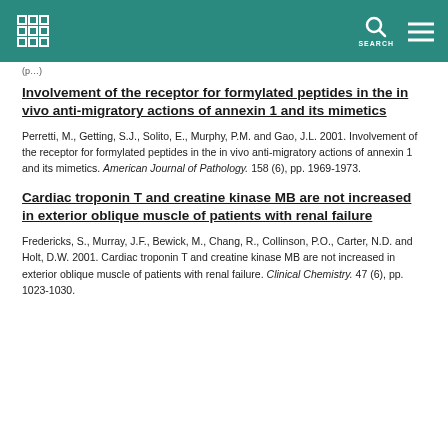Header bar with institution logo, search icon, and menu icon
(truncated/partially visible text)
Involvement of the receptor for formylated peptides in the in vivo anti-migratory actions of annexin 1 and its mimetics
Perretti, M., Getting, S.J., Solito, E., Murphy, P.M. and Gao, J.L. 2001. Involvement of the receptor for formylated peptides in the in vivo anti-migratory actions of annexin 1 and its mimetics. American Journal of Pathology. 158 (6), pp. 1969-1973.
Cardiac troponin T and creatine kinase MB are not increased in exterior oblique muscle of patients with renal failure
Fredericks, S., Murray, J.F., Bewick, M., Chang, R., Collinson, P.O., Carter, N.D. and Holt, D.W. 2001. Cardiac troponin T and creatine kinase MB are not increased in exterior oblique muscle of patients with renal failure. Clinical Chemistry. 47 (6), pp. 1023-1030.